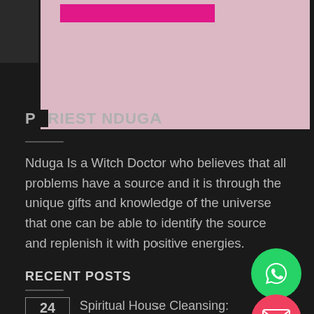[Figure (photo): Top portion of a website screenshot showing a pink/rose-toned banner image with a magenta/pink rectangular bar element and a small dark thumbnail on the left.]
PRIEST NDUGA
Nduga Is a Witch Doctor who believes that all problems have a source and it is through the unique gifts and knowledge of the universe that one can be able to identify the source and replenish it with positive energies.
RECENT POSTS
24 Mar — Spiritual House Cleansing: banishing negative energy from your house